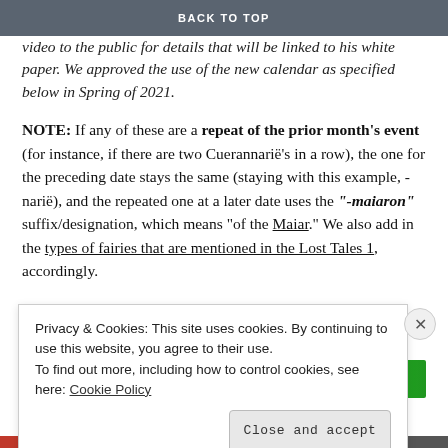BACK TO TOP
video to the public for details that will be linked to his white paper. We approved the use of the new calendar as specified below in Spring of 2021.
NOTE: If any of these are a repeat of the prior month's event (for instance, if there are two Cuerannarië's in a row), the one for the preceding date stays the same (staying with this example, -narië), and the repeated one at a later date uses the "-maiaron" suffix/designation, which means "of the Maiar." We also add in the types of fairies that are mentioned in the Lost Tales 1, accordingly.
Advertisements
[Figure (other): Green advertisement banner]
Privacy & Cookies: This site uses cookies. By continuing to use this website, you agree to their use.
To find out more, including how to control cookies, see here: Cookie Policy
Close and accept